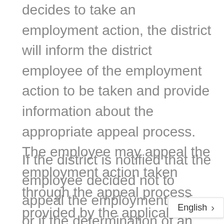decides to take an employment action, the district will inform the district employee of the employment action to be taken and provide information about the appropriate appeal process. The employee may appeal the employment action taken through the appeal process provided by the applicable collective bargaining agreement.
If the district is notified that the employee decided not to appeal the employment action or if the determination of an appeal sustained the employment action, a record of the findings of the substantiated report and the employment action taken by the district will be placed in the record